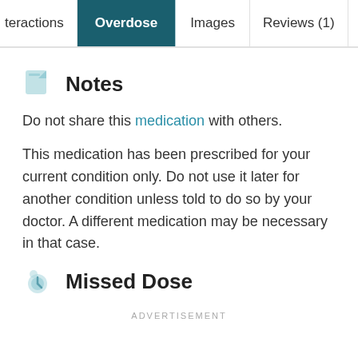teractions | Overdose | Images | Reviews (1)
Notes
Do not share this medication with others.
This medication has been prescribed for your current condition only. Do not use it later for another condition unless told to do so by your doctor. A different medication may be necessary in that case.
Missed Dose
ADVERTISEMENT